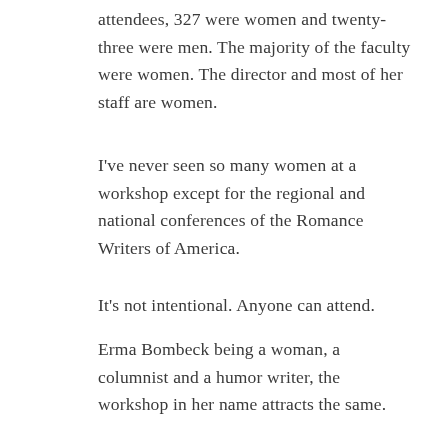attendees, 327 were women and twenty-three were men. The majority of the faculty were women. The director and most of her staff are women.
I've never seen so many women at a workshop except for the regional and national conferences of the Romance Writers of America.
It's not intentional. Anyone can attend.
Erma Bombeck being a woman, a columnist and a humor writer, the workshop in her name attracts the same.
Laughter is always center stage.
Stand-up comedian and joke writer, Monica Paper, inspirational humorist and financially successful